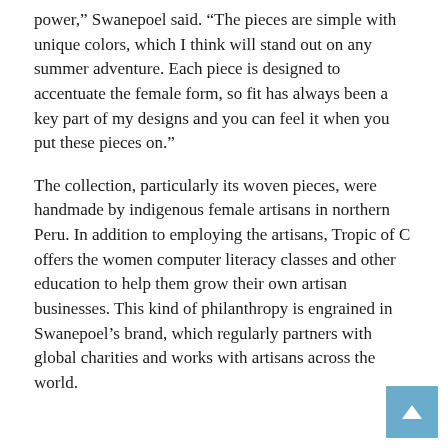power,” Swanepoel said. “The pieces are simple with unique colors, which I think will stand out on any summer adventure. Each piece is designed to accentuate the female form, so fit has always been a key part of my designs and you can feel it when you put these pieces on.”
The collection, particularly its woven pieces, were handmade by indigenous female artisans in northern Peru. In addition to employing the artisans, Tropic of C offers the women computer literacy classes and other education to help them grow their own artisan businesses. This kind of philanthropy is engrained in Swanepoel’s brand, which regularly partners with global charities and works with artisans across the world.